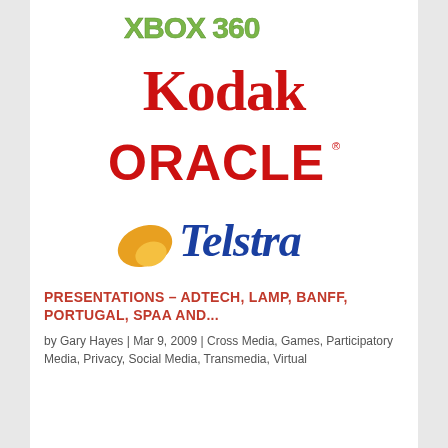[Figure (logo): Xbox 360 logo — green stylized text]
[Figure (logo): Kodak logo — bold red serif text on white]
[Figure (logo): Oracle logo — bold red uppercase sans-serif text with registered trademark]
[Figure (logo): Telstra logo — blue italic serif wordmark with orange swoosh icon]
PRESENTATIONS – ADTECH, LAMP, BANFF, PORTUGAL, SPAA AND...
by Gary Hayes | Mar 9, 2009 | Cross Media, Games, Participatory Media, Privacy, Social Media, Transmedia, Virtual